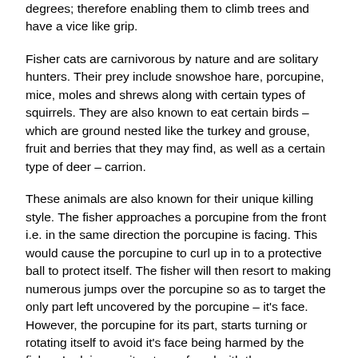degrees; therefore enabling them to climb trees and have a vice like grip.
Fisher cats are carnivorous by nature and are solitary hunters. Their prey include snowshoe hare, porcupine, mice, moles and shrews along with certain types of squirrels. They are also known to eat certain birds – which are ground nested like the turkey and grouse, fruit and berries that they may find, as well as a certain type of deer – carrion.
These animals are also known for their unique killing style. The fisher approaches a porcupine from the front i.e. in the same direction the porcupine is facing. This would cause the porcupine to curl up in to a protective ball to protect itself. The fisher will then resort to making numerous jumps over the porcupine so as to target the only part left uncovered by the porcupine – it's face. However, the porcupine for its part, starts turning or rotating itself to avoid it's face being harmed by the fisher. In doing so, it gets confused with the numerous jumps and then gives up in fatigue in trying to protect itself and starts to loosen the tight body curl. Seeing this, the fisher then resorts to repeatedly striking the porcupine's face, thereby making it bleed profusely; and killing it. Once this is done, the fisher then turns the porcupine over on it back and then starts eating or biting it on the stomach – where the